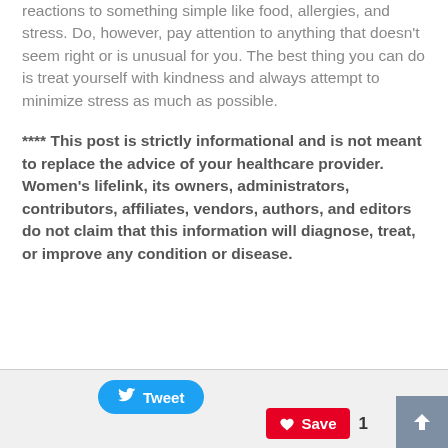reactions to something simple like food, allergies, and stress. Do, however, pay attention to anything that doesn't seem right or is unusual for you. The best thing you can do is treat yourself with kindness and always attempt to minimize stress as much as possible.
**** This post is strictly informational and is not meant to replace the advice of your healthcare provider. Women's lifelink, its owners, administrators, contributors, affiliates, vendors, authors, and editors do not claim that this information will diagnose, treat, or improve any condition or disease.
[Figure (screenshot): Social sharing bar with Tweet button (blue), Save button (red/Pinterest) with count of 1, and a back-to-top arrow button (gray)]